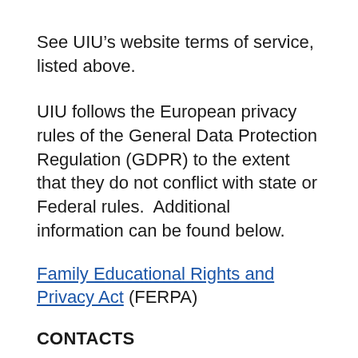See UIU's website terms of service, listed above.
UIU follows the European privacy rules of the General Data Protection Regulation (GDPR) to the extent that they do not conflict with state or Federal rules.  Additional information can be found below.
Family Educational Rights and Privacy Act (FERPA)
CONTACTS
If you have any comments or questions about